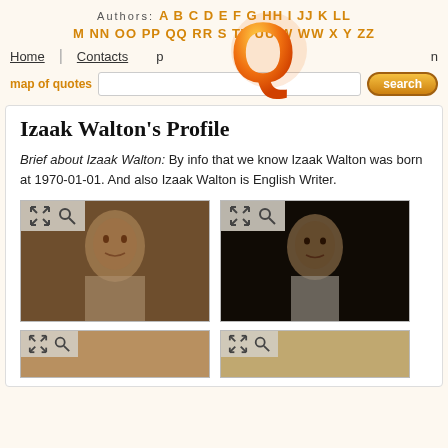Authors: A B C D E F G H I J K L M N O P Q R S T U V W X Y Z
Home | Contacts | sign in
map of quotes [search input] search
Izaak Walton's Profile
Brief about Izaak Walton: By info that we know Izaak Walton was born at 1970-01-01. And also Izaak Walton is English Writer.
[Figure (photo): Sepia portrait of Izaak Walton (historical engraving style)]
[Figure (photo): Dark oil painting portrait of Izaak Walton]
[Figure (photo): Third image of Izaak Walton (partially visible)]
[Figure (photo): Fourth image of Izaak Walton (partially visible)]